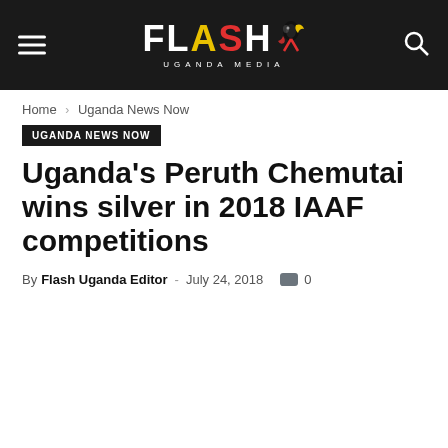Flash Uganda Media
Home › Uganda News Now
UGANDA NEWS NOW
Uganda's Peruth Chemutai wins silver in 2018 IAAF competitions
By Flash Uganda Editor - July 24, 2018  0